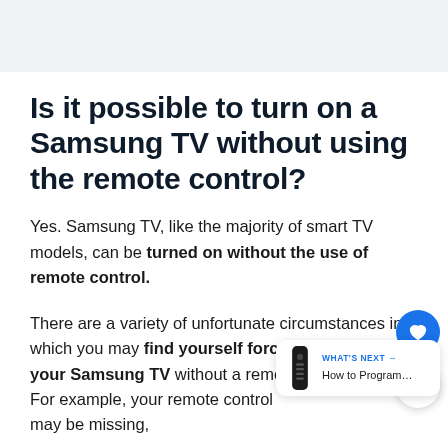[Figure (photo): Gray placeholder image area at top of page]
Is it possible to turn on a Samsung TV without using the remote control?
Yes. Samsung TV, like the majority of smart TV models, can be turned on without the use of remote control.
There are a variety of unfortunate circumstances in which you may find yourself forced to turn on your Samsung TV without a remote control.
For example, your remote control may be missing,